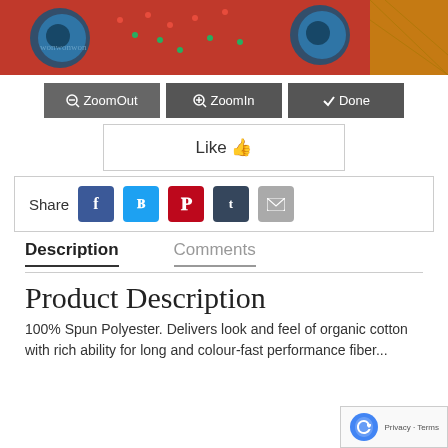[Figure (photo): Colorful textile/fabric photo strip showing embroidered patches and patterned fabric in red, green, blue, and yellow tones]
ZoomOut   ZoomIn   Done
Like 👍
Share [Facebook] [Twitter] [Pinterest] [Tumblr] [Email]
Description    Comments
Product Description
100% Spun Polyester. Delivers look and feel of organic cotton with rich ability for long and colour-fast performance fiber...